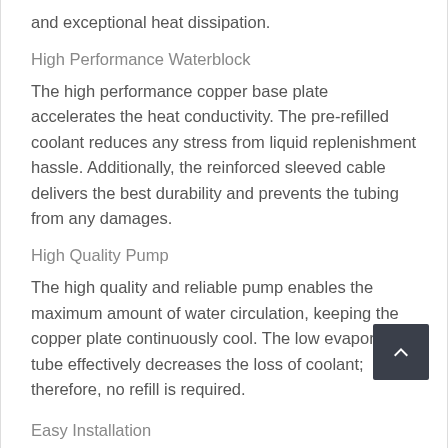and exceptional heat dissipation.
High Performance Waterblock
The high performance copper base plate accelerates the heat conductivity. The pre-refilled coolant reduces any stress from liquid replenishment hassle. Additionally, the reinforced sleeved cable delivers the best durability and prevents the tubing from any damages.
High Quality Pump
The high quality and reliable pump enables the maximum amount of water circulation, keeping the copper plate continuously cool. The low evaporat tube effectively decreases the loss of coolant; therefore, no refill is required.
Easy Installation
Featuring the latest cooling performance, the self